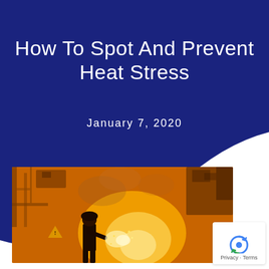How To Spot And Prevent Heat Stress
January 7, 2020
[Figure (photo): Industrial worker in silhouette against bright orange furnace/molten metal glow in a factory or steel mill setting, with industrial equipment visible in the background.]
Privacy · Terms